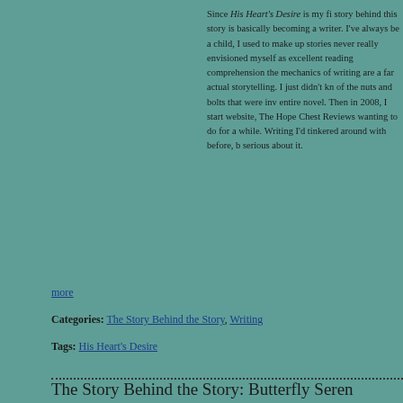Since His Heart's Desire is my fi... story behind this story is basically... becoming a writer. I've always be... a child, I used to make up stories... never really envisioned myself as... excellent reading comprehension... the mechanics of writing are a far... actual storytelling. I just didn't kn... of the nuts and bolts that were inv... entire novel. Then in 2008, I start... website, The Hope Chest Reviews... wanting to do for a while. Writing... I'd tinkered around with before, b... serious about it.
more
Categories: The Story Behind the Story, Writing
Tags: His Heart's Desire
The Story Behind the Story: Butterfly Seren...